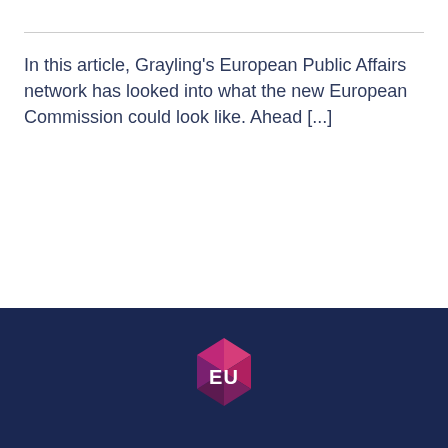In this article, Grayling's European Public Affairs network has looked into what the new European Commission could look like. Ahead [...]
New European Commission
[Figure (logo): Grayling EU logo — hexagonal pink and purple shape with white 'EU' text inside, on dark navy background]